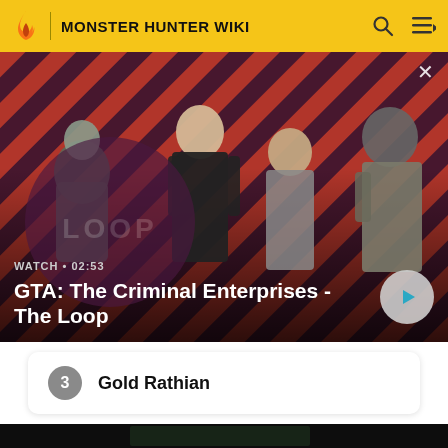MONSTER HUNTER WIKI
[Figure (screenshot): GTA: The Criminal Enterprises - The Loop video banner with diagonal red and dark stripe background, showing four characters, a watch label '02:53', a play button, and a close button]
WATCH • 02:53
GTA: The Criminal Enterprises - The Loop
3   Gold Rathian
[Figure (screenshot): Bottom thumbnail showing a dark background with a partial game screenshot]